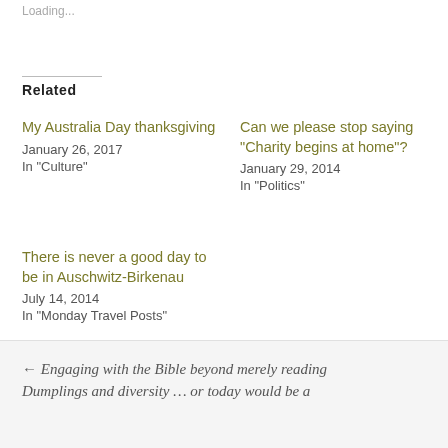Loading...
Related
My Australia Day thanksgiving
January 26, 2017
In "Culture"
Can we please stop saying “Charity begins at home”?
January 29, 2014
In "Politics"
There is never a good day to be in Auschwitz-Birkenau
July 14, 2014
In "Monday Travel Posts"
← Engaging with the Bible beyond merely reading
Dumplings and diversity … or today would be a